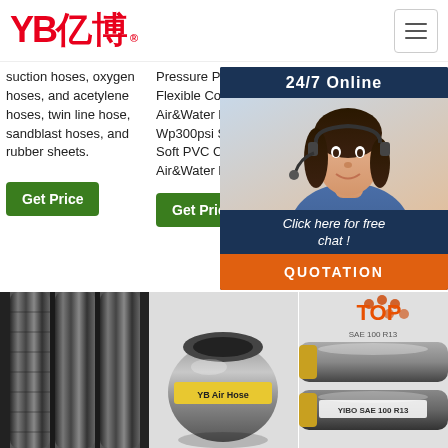YB亿博 logo with hamburger menu
suction hoses, oxygen hoses, and acetylene hoses, twin line hose, sandblast hoses, and rubber sheets.
Get Price
Pressure PVC Compound Flexible Compressor Air&Water Hose Tube, Wp300psi Smooth Cover Soft PVC Compound Air&Water Hose and so on.
Get Price
Contact Now. Video Rubber Pre Hos
24/7 Online
Click here for free chat !
QUOTATION
[Figure (photo): Close-up of black rubber hose cross-section]
[Figure (photo): Gray air hose with YB branding label]
[Figure (photo): Two hydraulic hoses - SAE 100 R13 type - top and bottom]